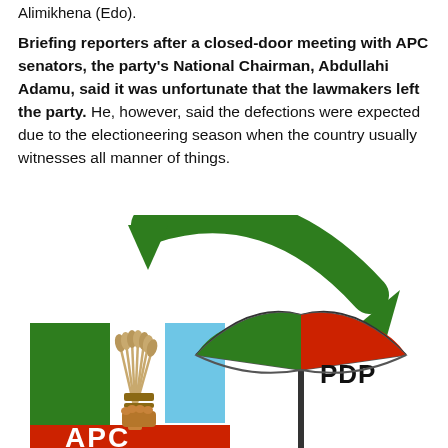Alimikhena (Edo).
Briefing reporters after a closed-door meeting with APC senators, the party's National Chairman, Abdullahi Adamu, said it was unfortunate that the lawmakers left the party. He, however, said the defections were expected due to the electioneering season when the country usually witnesses all manner of things.
[Figure (illustration): Illustration showing a green curved arrow pointing from left (APC logo with broom and green/red/blue rectangles) to right (PDP umbrella logo in green, white, and red with 'PDP' text), representing political defection from APC to PDP.]